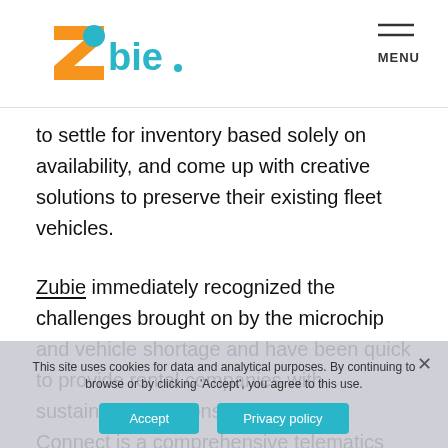Zubie logo and MENU navigation
to settle for inventory based solely on availability, and come up with creative solutions to preserve their existing fleet vehicles.
Zubie immediately recognized the challenges brought on by the microchip and vehicle shortage and have been quick to provide rental companies with sustainable solutions. Zubie Rental Connect is a comprehensive telematics solution that is designed to assist rental companies with optimizing their business operations, and protecting their vehicles. With Rental
This site uses cookies for data and analytical purposes. By continuing to browse or by clicking 'Accept', you agree to this use.